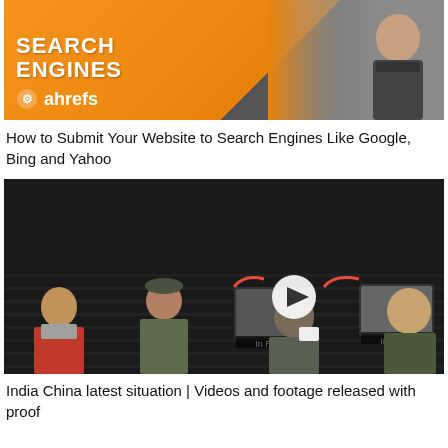[Figure (screenshot): Ahrefs promotional banner with orange background, 'SEARCH ENGINES' text, ahrefs logo, and a person's photo on the right side]
How to Submit Your Website to Search Engines Like Google, Bing and Yahoo
[Figure (screenshot): India China news video thumbnail with Urdu text, showing military personnel and a play button. Labels 'In Reality' and 'In Films' on image thumbnails with red arrows.]
India China latest situation | Videos and footage released with proof